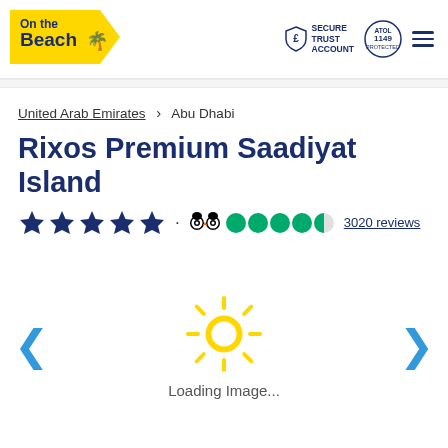On the Beach | Secure Trust Account | ATOL Protected | Menu
United Arab Emirates > Abu Dhabi
Rixos Premium Saadiyat Island
★★★★★ · TripAdvisor 4.5 circles 3020 reviews
[Figure (illustration): Loading image spinner (sun icon) with 'Loading Image...' text, and left/right navigation arrows]